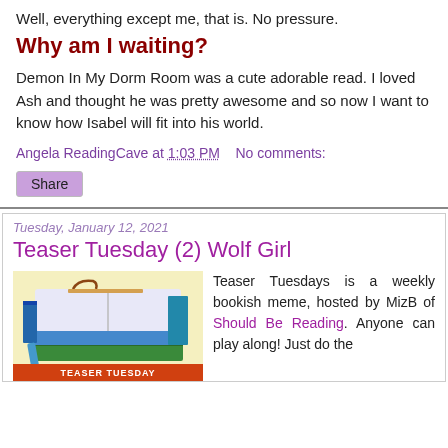Well, everything except me, that is. No pressure.
Why am I waiting?
Demon In My Dorm Room was a cute adorable read. I loved Ash and thought he was pretty awesome and so now I want to know how Isabel will fit into his world.
Angela ReadingCave at 1:03 PM    No comments:
Share
Tuesday, January 12, 2021
Teaser Tuesday (2) Wolf Girl
[Figure (illustration): Illustration of a stack of books with a colorful cover, banner at bottom reading TEASER TUESDAY]
Teaser Tuesdays is a weekly bookish meme, hosted by MizB of Should Be Reading. Anyone can play along! Just do the